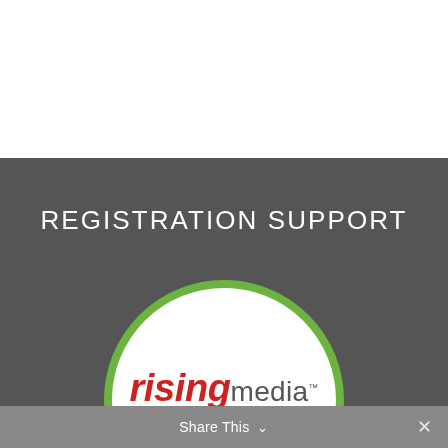REGISTRATION SUPPORT
[Figure (logo): Rising Media logo — the word 'rising' in red italic bold and 'media' in grey regular weight, with a trademark symbol, and an orange swoosh arc beneath the text, displayed inside a white circle with a green border]
Share This ∨